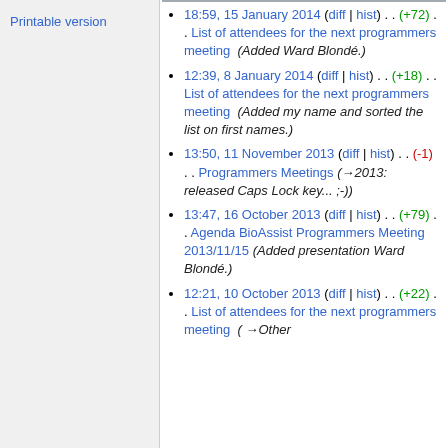Printable version
18:59, 15 January 2014 (diff | hist) . . (+72) . . List of attendees for the next programmers meeting (Added Ward Blondé.)
12:39, 8 January 2014 (diff | hist) . . (+18) . . List of attendees for the next programmers meeting (Added my name and sorted the list on first names.)
13:50, 11 November 2013 (diff | hist) . . (-1) . . Programmers Meetings (→2013: released Caps Lock key... ;-))
13:47, 16 October 2013 (diff | hist) . . (+79) . . Agenda BioAssist Programmers Meeting 2013/11/15 (Added presentation Ward Blondé.)
12:21, 10 October 2013 (diff | hist) . . (+22) . . List of attendees for the next programmers meeting (→Other